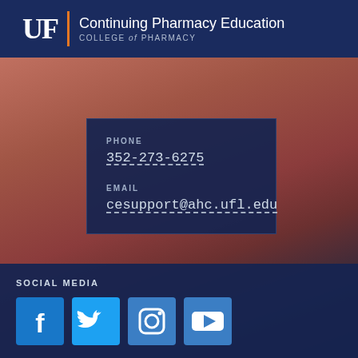UF | Continuing Pharmacy Education COLLEGE of PHARMACY
[Figure (infographic): Sunset background with warm reddish-orange tones fading to dark blue at the bottom]
PHONE
352-273-6275
EMAIL
cesupport@ahc.ufl.edu
SOCIAL MEDIA
[Figure (infographic): Social media icons: Facebook, Twitter, Instagram, YouTube in blue square buttons]